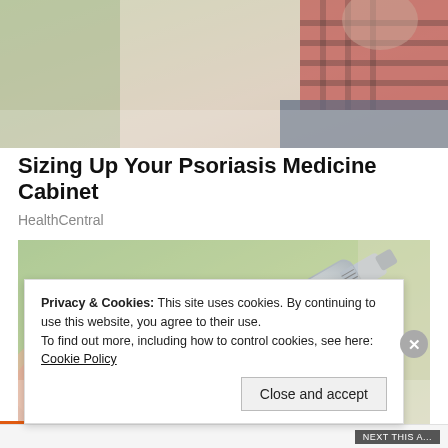[Figure (photo): Partial photo at top showing a person in a red plaid shirt, blurred background, cropped at top of page.]
Sizing Up Your Psoriasis Medicine Cabinet
HealthCentral
[Figure (photo): Close-up photo of fingers holding a cream/ointment tube, with blurred green background.]
Privacy & Cookies: This site uses cookies. By continuing to use this website, you agree to their use.
To find out more, including how to control cookies, see here: Cookie Policy
Close and accept